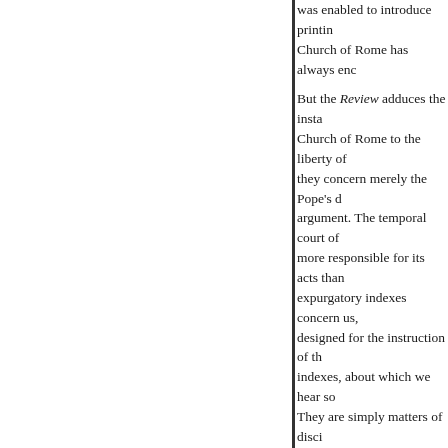was enabled to introduce printing Church of Rome has always enc But the Review adduces the insta Church of Rome to the liberty of they concern merely the Pope's d argument. The temporal court of more responsible for its acts than expurgatory indexes concern us, designed for the instruction of th indexes, about which we hear so They are simply matters of disci encroach on the liberty of the pr but to guard the faithful against t Nobody, we presume, no matter indiscriminate reading of all man books even not without some val parent would put into the hands reading. A full-grown man, well grace, may perhaps read without tremble to find his son, some eig Ruins, or Baron d'Holbach's Syst daughter reading Wolstonecraft's George Sand, or Eugene Sue be